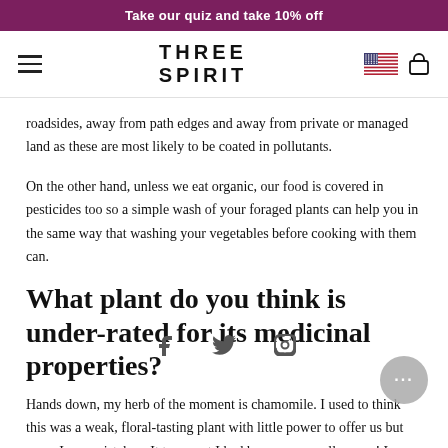Take our quiz and take 10% off
[Figure (screenshot): THREE SPIRIT logo and navigation bar with hamburger menu, US flag icon, and shopping bag icon]
roadsides, away from path edges and away from private or managed land as these are most likely to be coated in pollutants.
On the other hand, unless we eat organic, our food is covered in pesticides too so a simple wash of your foraged plants can help you in the same way that washing your vegetables before cooking with them can.
What plant do you think is under-rated for its medicinal properties?
Hands down, my herb of the moment is chamomile. I used to think this was a weak, floral-tasting plant with little power to offer us but wow, I was mistaken. It turns out I had been going about it all wrong! I found out that herbal tea should be brewed for at least 10 minutes and covered so that so the volatile and medicinal oils don't escape with the steam. Once I started brewing chamomile this way, I was totally hooked on how